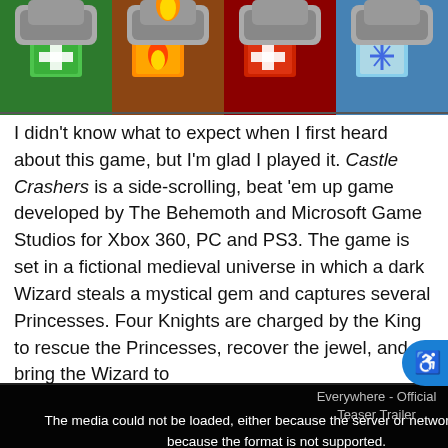[Figure (illustration): Castle Crashers game characters header image showing colorful cartoon knight characters with emblems on their chests against a gray background]
I didn't know what to expect when I first heard about this game, but I'm glad I played it. Castle Crashers is a side-scrolling, beat 'em up game developed by The Behemoth and Microsoft Game Studios for Xbox 360, PC and PS3. The game is set in a fictional medieval universe in which a dark Wizard steals a mystical gem and captures several Princesses. Four Knights are charged by the King to rescue the Princesses, recover the jewel, and bring the Wizard to
[Figure (screenshot): Video player overlay showing error message: 'The media could not be loaded, either because the server or network failed or because the format is not supported.' with Everywhere - Official Teaser Trailer title and Everywhere logo. A close button X is visible.]
"cat-fish," and alien invaders! You can also find animal companions for your character that assist you in battle, improve your character's attributes, or provide another